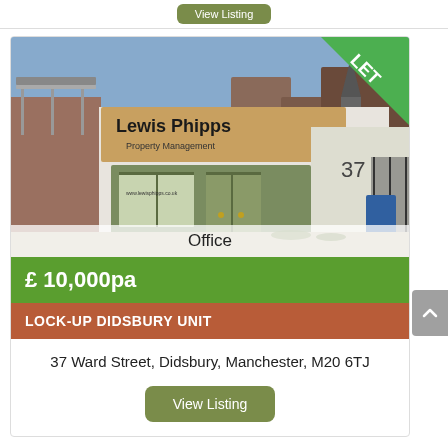View Listing
[Figure (photo): Exterior photo of Lewis Phipps Property Management office at 37 Ward Street, Didsbury, Manchester. Single-storey white building with green door, wooden signage, with a 'LET' banner in the top right corner.]
Office
£ 10,000pa
LOCK-UP DIDSBURY UNIT
37 Ward Street, Didsbury, Manchester, M20 6TJ
View Listing